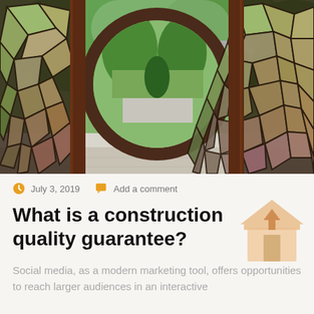[Figure (photo): Chinese garden pavilion with ornate geometric lattice frame and circular moon gate opening, lush green garden and traditional white architecture visible beyond]
July 3, 2019
Add a comment
What is a construction quality guarantee?
Social media, as a modern marketing tool, offers opportunities to reach larger audiences in an interactive...